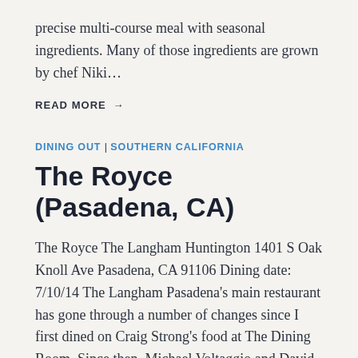precise multi-course meal with seasonal ingredients. Many of those ingredients are grown by chef Niki…
READ MORE →
DINING OUT | SOUTHERN CALIFORNIA
The Royce (Pasadena, CA)
The Royce The Langham Huntington 1401 S Oak Knoll Ave Pasadena, CA 91106 Dining date: 7/10/14 The Langham Pasadena's main restaurant has gone through a number of changes since I first dined on Craig Strong's food at The Dining Room. Since then, Michael Voltaggio and David Feau have taken the helm for relatively short-lived chef-driven…